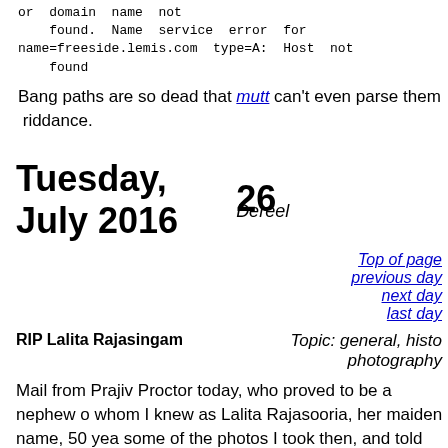or domain name not
    found. Name service error for
name=freeside.lemis.com type=A: Host not
    found
Bang paths are so dead that mutt can't even parse them riddance.
Tuesday, 26 July 2016   Dereel
Top of page
previous day
next day
last day
RIP Lalita Rajasingam
Topic: general, histo photography
Mail from Prajiv Proctor today, who proved to be a nephew o whom I knew as Lalita Rajasooria, her maiden name, 50 yea some of the photos I took then, and told me the sad news that
Poor Lal. She wasn't that old—late 70s, I suppose. I went ro